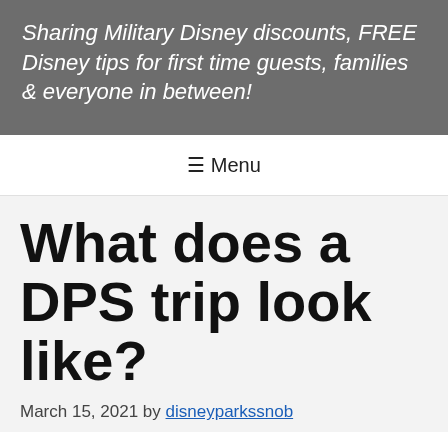Sharing Military Disney discounts, FREE Disney tips for first time guests, families & everyone in between!
≡ Menu
What does a DPS trip look like?
March 15, 2021 by disneyparkssnob